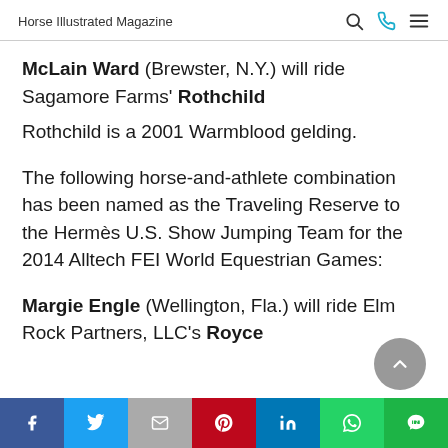Horse Illustrated Magazine
McLain Ward (Brewster, N.Y.) will ride Sagamore Farms' Rothchild
Rothchild is a 2001 Warmblood gelding.
The following horse-and-athlete combination has been named as the Traveling Reserve to the Hermès U.S. Show Jumping Team for the 2014 Alltech FEI World Equestrian Games:
Margie Engle (Wellington, Fla.) will ride Elm Rock Partners, LLC's Royce
Share bar: Facebook, Twitter, Email, Pinterest, LinkedIn, WhatsApp, LINE